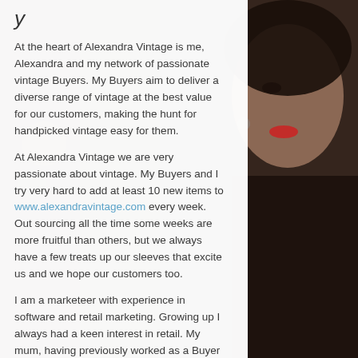[Figure (photo): Background photo of a vintage-styled woman with red lips and styled hair, partially visible on the right side of the page]
y
At the heart of Alexandra Vintage is me, Alexandra and my network of passionate vintage Buyers. My Buyers aim to deliver a diverse range of vintage at the best value for our customers, making the hunt for handpicked vintage easy for them.
At Alexandra Vintage we are very passionate about vintage. My Buyers and I try very hard to add at least 10 new items to www.alexandravintage.com every week. Out sourcing all the time some weeks are more fruitful than others, but we always have a few treats up our sleeves that excite us and we hope our customers too.
I am a marketeer with experience in software and retail marketing. Growing up I always had a keen interest in retail. My mum, having previously worked as a Buyer for retail brands